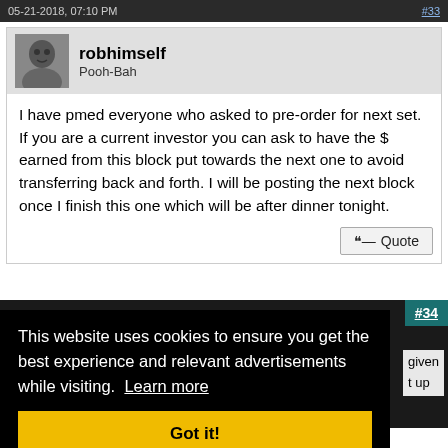05-21-2018, 07:10 PM   #33
[Figure (photo): Avatar image of user robhimself, grayscale photo]
robhimself
Pooh-Bah
I have pmed everyone who asked to pre-order for next set. If you are a current investor you can ask to have the $ earned from this block put towards the next one to avoid transferring back and forth. I will be posting the next block once I finish this one which will be after dinner tonight.
#34
This website uses cookies to ensure you get the best experience and relevant advertisements while visiting. Learn more
Got it!
given
t up
weekend, with the option for me to add in $36,180s in